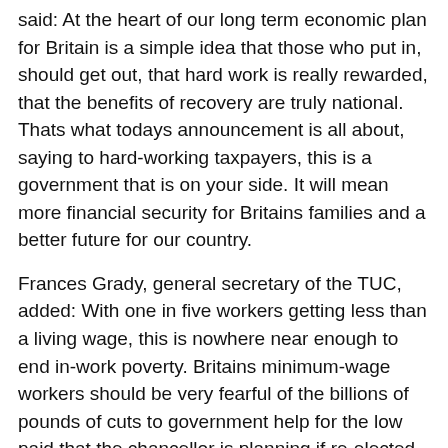said: At the heart of our long term economic plan for Britain is a simple idea that those who put in, should get out, that hard work is really rewarded, that the benefits of recovery are truly national. Thats what todays announcement is all about, saying to hard-working taxpayers, this is a government that is on your side. It will mean more financial security for Britains families and a better future for our country.
Frances Grady, general secretary of the TUC, added: With one in five workers getting less than a living wage, this is nowhere near enough to end in-work poverty. Britains minimum-wage workers should be very fearful of the billions of pounds of cuts to government help for the low paid that the chancellor is planning if re-elected.
Last year a survey by the British Chambers of Commerce (BCC) revealed that 60 per cent of BCC members favoured a rise in line with inflation but just 14 per cent backed an above-inflation rise.
Image: Shutterstock